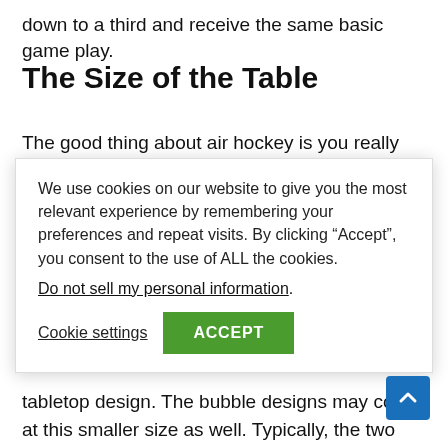down to a third and receive the same basic game play.
The Size of the Table
The good thing about air hockey is you really don't need
We use cookies on our website to give you the most relevant experience by remembering your preferences and repeat visits. By clicking “Accept”, you consent to the use of ALL the cookies.
Do not sell my personal information.
Cookie settings   ACCEPT
tabletop design. The bubble designs may come at this smaller size as well. Typically, the two foot option is designed for smaller children and are made out of inexpensive plastic. If you want any sort of quality in